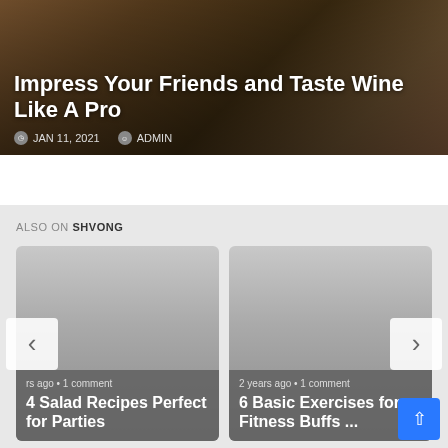Impress Your Friends and Taste Wine Like A Pro
JAN 11, 2021   ADMIN
ALSO ON SHVONG
rs ago • 1 comment
4 Salad Recipes Perfect for Parties
2 years ago • 1 comment
6 Basic Exercises for Fitness Buffs ...